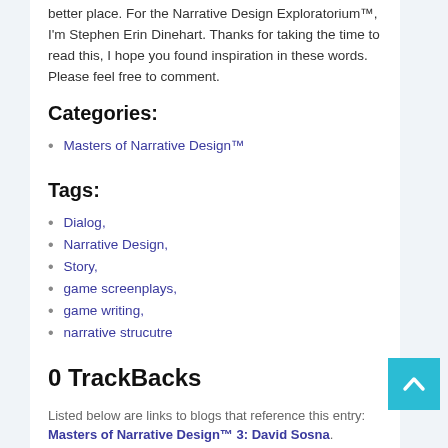better place. For the Narrative Design Exploratorium™, I'm Stephen Erin Dinehart. Thanks for taking the time to read this, I hope you found inspiration in these words. Please feel free to comment.
Categories:
Masters of Narrative Design™
Tags:
Dialog,
Narrative Design,
Story,
game screenplays,
game writing,
narrative strucutre
0 TrackBacks
Listed below are links to blogs that reference this entry: Masters of Narrative Design™ 3: David Sosna.
TrackBack URL for this entry: http://narrativedesign.org/...